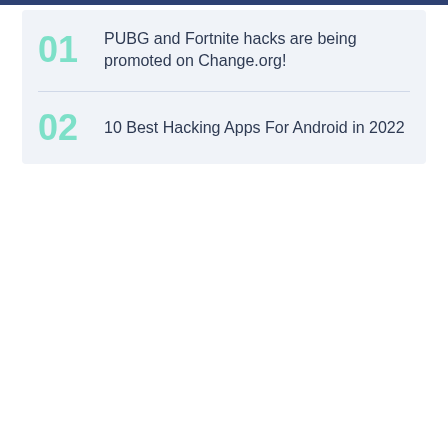01 PUBG and Fortnite hacks are being promoted on Change.org!
02 10 Best Hacking Apps For Android in 2022